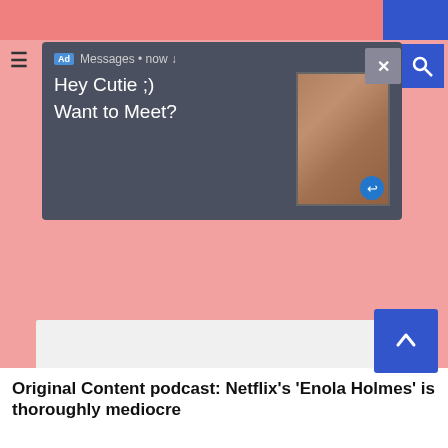[Figure (screenshot): Ad notification popup with dark background showing 'Ad Messages • now' header, text 'Hey Cutie ;) Want to Meet?' and a thumbnail image of a woman, with close (X) button]
[Figure (other): Large light gray rectangular content placeholder area]
Original Content podcast: Netflix's ‘Enola Holmes’ is thoroughly mediocre